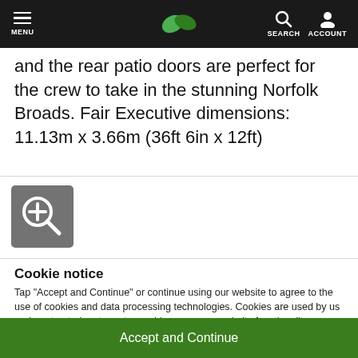MENU | [leaf logo] | SEARCH ACCOUNT
and the rear patio doors are perfect for the crew to take in the stunning Norfolk Broads. Fair Executive dimensions: 11.13m x 3.66m (36ft 6in x 12ft)
[Figure (other): Zoom/magnify button icon with a plus sign inside a magnifying glass on a grey square background]
Cookie notice
Tap "Accept and Continue" or continue using our website to agree to the use of cookies and data processing technologies. Cookies are used by us and our trusted partners to provide necessary website functionality, analyse, personalise and enhance your experience on this website as well as to deliver tailored holiday-related ads on other websites.
Accept and Continue